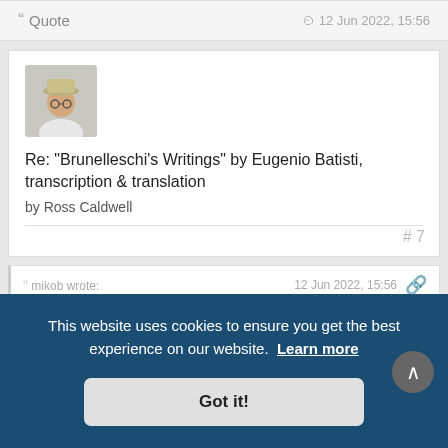❝ Quote   12 Jun 2022, 15:56
[Figure (photo): Avatar photo of Ross Caldwell, a person wearing a hat and glasses]
Re: "Brunelleschi's Writings" by Eugenio Batisti, transcription & translation
by Ross Caldwell
# 7
mikob wrote:   12 Jun 2022, 15:56
https://archive.org/details/italiannove ...
This website uses cookies to ensure you get the best experience on our website. Learn more
Got it!